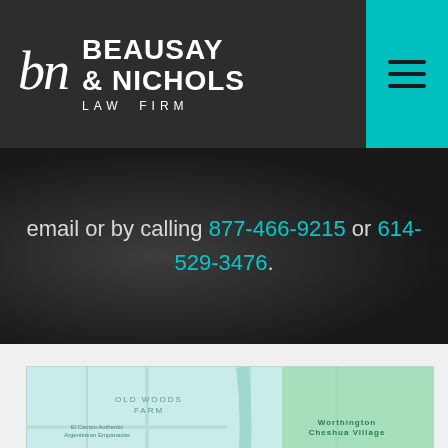[Figure (logo): Beausay & Nichols Law Firm logo with script 'bn' and bold firm name text]
email or by calling 877-466-9215 or 614-529-3476.
[Figure (map): Google Maps screenshot showing Worthington Hills area with location pin, displaying OLD WOODS FARM, NORTHWOODS, RTHINGTON HILLS, FAR NORTH neighborhoods and nearby businesses]